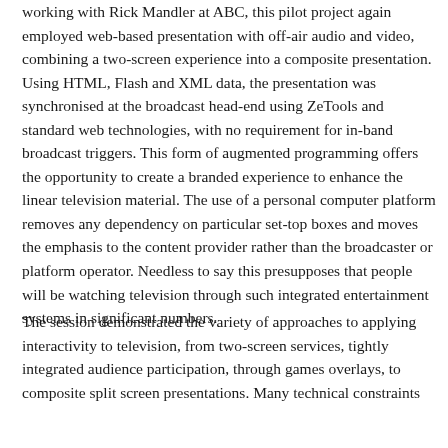working with Rick Mandler at ABC, this pilot project again employed web-based presentation with off-air audio and video, combining a two-screen experience into a composite presentation. Using HTML, Flash and XML data, the presentation was synchronised at the broadcast head-end using ZeTools and standard web technologies, with no requirement for in-band broadcast triggers. This form of augmented programming offers the opportunity to create a branded experience to enhance the linear television material. The use of a personal computer platform removes any dependency on particular set-top boxes and moves the emphasis to the content provider rather than the broadcaster or platform operator. Needless to say this presupposes that people will be watching television through such integrated entertainment systems in significant numbers.
The session demonstrated the variety of approaches to applying interactivity to television, from two-screen services, tightly integrated audience participation, through games overlays, to composite split screen presentations. Many technical constraints are in the way of the most tightly integrated solutions, and the